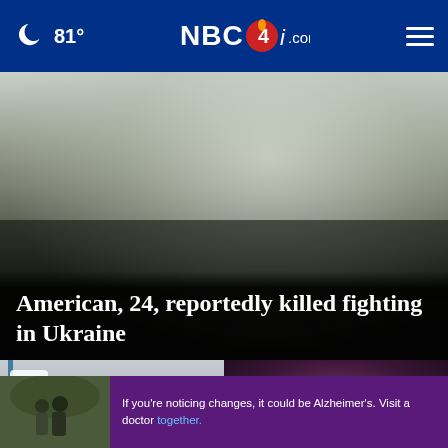🌙 81° | NBC4i.com
[Figure (photo): Misty battlefield scene showing military equipment (tank or artillery) obscured by fog/smoke, with soldiers visible at bottom left. Dark foliage in background.]
American, 24, reportedly killed fighting in Ukraine
[Figure (screenshot): Video thumbnail card with play button, showing a grey/blue interface screenshot]
[Figure (photo): Photo of a person with dark hair, purple/red lighting in background, with a grey close (X) button overlay]
If you're noticing changes, it could be Alzheimer's. Visit a doctor together.